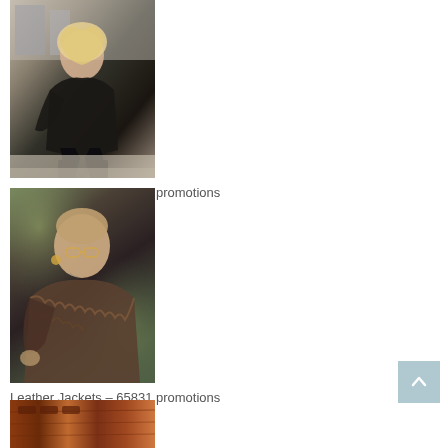[Figure (photo): Young woman with blonde hair wearing a black leather jacket, sitting on steps outdoors in an urban setting]
Leather Jackets – 88533 promotions
[Figure (photo): Woman with shaved head wearing glasses and a brown fur/leather jacket, posed outdoors with bokeh background]
Leather Jackets – 65831 promotions
[Figure (photo): Partial view of a reddish-brown leather item or wooden surface]